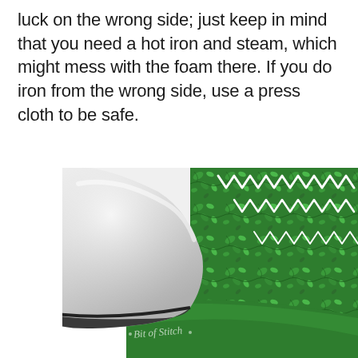luck on the wrong side; just keep in mind that you need a hot iron and steam, which might mess with the foam there. If you do iron from the wrong side, use a press cloth to be safe.
[Figure (photo): A white clothes iron pressing on a green botanical-patterned fabric with white zigzag stitching along the edge, on a white surface. A watermark reading 'Bit of Stitch' appears at the bottom of the image.]